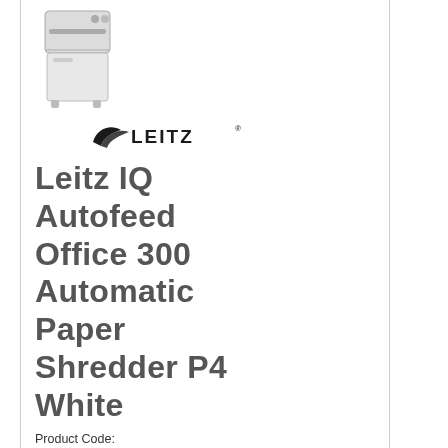[Figure (photo): Product photo of Leitz IQ Autofeed Office 300 paper shredder, white, shown from front-left angle]
[Figure (logo): Leitz brand logo with stylized wing motif and LEITZ text in bold]
Leitz IQ Autofeed Office 300 Automatic Paper Shredder P4 White
Product Code: 80151000
Pack Of 1
Your Price Only £1,221.09
Inc Vat £1,465.31